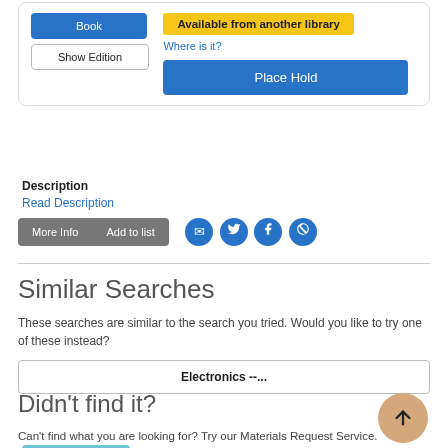[Figure (screenshot): Library catalog card showing Book button, Show Edition button, Available from another library badge, Where is it link, and Place Hold button]
Description
Read Description
[Figure (other): More Info and Add to list buttons with email, Twitter, Facebook, Pinterest social share icons]
Similar Searches
These searches are similar to the search you tried. Would you like to try one of these instead?
Electronics --...
Didn't find it?
Can't find what you are looking for? Try our Materials Request Service.